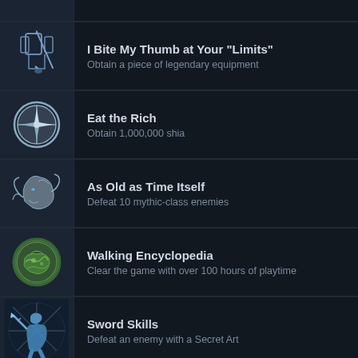I Bite My Thumb at Your "Limits" — Obtain a piece of legendary equipment
Eat the Rich — Obtain 1,000,000 shia
As Old as Time Itself — Defeat 10 mythic-class enemies
Walking Encyclopedia — Clear the game with over 100 hours of playtime
Sword Skills — Defeat an enemy with a Secret Art